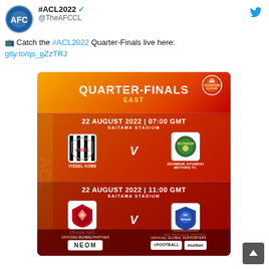#ACL2022 @TheAFCCL
📺 Catch the #ACL2022 Quarter-Finals live here: gtly.to/qs_gZzTRJ
[Figure (infographic): ACL 2022 Quarter-Finals East promotional graphic. Match 1: 22 August 2022 | 07:00 GMT, Saitama Stadium, Vissel Kobe v Jeonbuk Hyundai Motors FC. Match 2: 22 August 2022 | 11:00 GMT, Saitama Stadium, Urawa Red Diamonds v BG Pathum United. Sponsors: NEOM (Official Global Partner), efootball and molten (Official Global Supporters).]